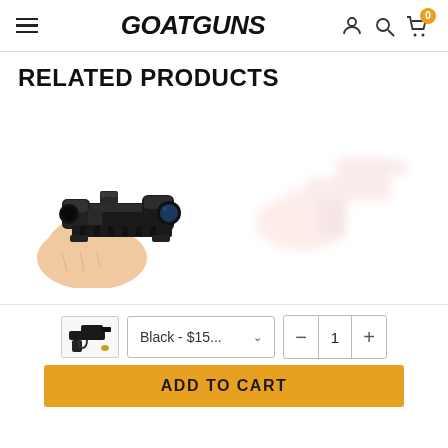GOATGUNS — header with hamburger menu, logo, account icon, search icon, cart (0)
RELATED PRODUCTS
[Figure (photo): Hand holding a small miniature tactical rifle scope (ACOG-style) in black, with rail mount, photographed close-up against white background]
[Figure (photo): Faded/blurred image of a pink/rose colored miniature rifle or accessory, partially visible on right side]
[Figure (photo): Thumbnail image of a small black miniature firearm accessory/pistol with a small brass/yellow round]
Black - $15...
1
ADD TO CART